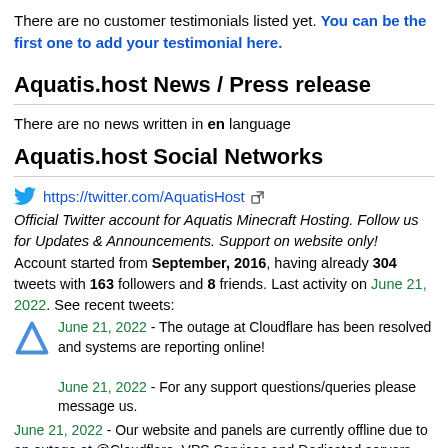There are no customer testimonials listed yet. You can be the first one to add your testimonial here.
Aquatis.host News / Press release
There are no news written in en language
Aquatis.host Social Networks
https://twitter.com/AquatisHost
Official Twitter account for Aquatis Minecraft Hosting. Follow us for Updates & Announcements. Support on website only! Account started from September, 2016, having already 304 tweets with 163 followers and 8 friends. Last activity on June 21, 2022. See recent tweets:
June 21, 2022 - The outage at Cloudflare has been resolved and systems are reporting online!
June 21, 2022 - For any support questions/queries please message us.
June 21, 2022 - Our website and panels are currently offline due to an outage at @Cloudflare. VPS Services and Dedicated servers ar… more info